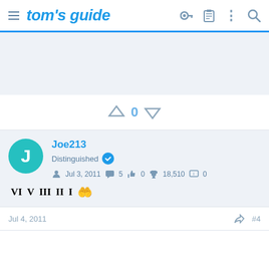tom's guide
[Figure (other): Ad/banner placeholder area with light blue-grey background]
0 (vote count with up and down arrows)
Joe213 - Distinguished - Jul 3, 2011 - 5 posts - 0 likes - 18,510 points - 0 messages
Rank badge icons: VI V III II I and a hands icon
Jul 4, 2011  #4